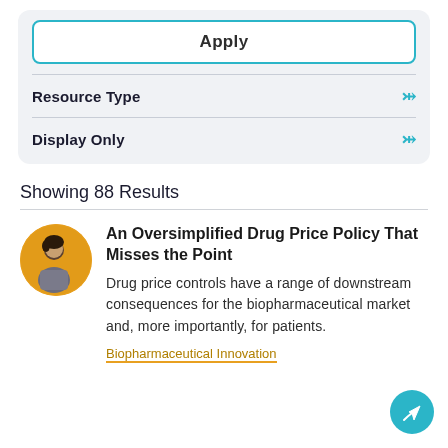Apply
Resource Type
Display Only
Showing 88 Results
[Figure (photo): Circular avatar photo of a person with a yellow/orange background circle, person appears to be looking at a phone or device]
An Oversimplified Drug Price Policy That Misses the Point
Drug price controls have a range of downstream consequences for the biopharmaceutical market and, more importantly, for patients.
Biopharmaceutical Innovation